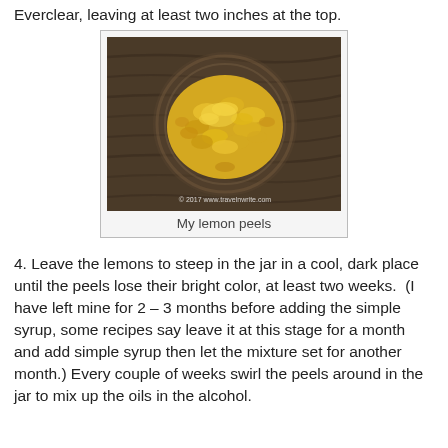Everclear, leaving at least two inches at the top.
[Figure (photo): Overhead close-up photo of yellow lemon peels piled in a round glass jar, viewed from above, on a dark wooden surface. Watermark: © 2017 www.travelnwrite.com]
My lemon peels
4. Leave the lemons to steep in the jar in a cool, dark place until the peels lose their bright color, at least two weeks.  (I have left mine for 2 – 3 months before adding the simple syrup, some recipes say leave it at this stage for a month and add simple syrup then let the mixture set for another month.) Every couple of weeks swirl the peels around in the jar to mix up the oils in the alcohol.